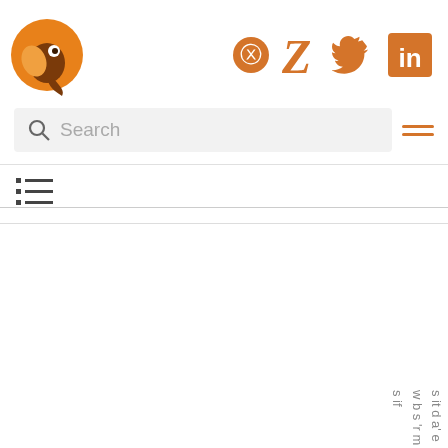[Figure (logo): Orange and brown bird/wolf logo icon]
[Figure (infographic): Social media icons: GitHub, Zotero, Twitter, LinkedIn in orange]
[Figure (screenshot): Search bar with magnifying glass icon and placeholder text 'Search']
[Figure (screenshot): Hamburger/menu icon with two orange horizontal lines]
[Figure (infographic): List/outline toggle icon in dark gray]
s it d a' e w b s 'r m s if